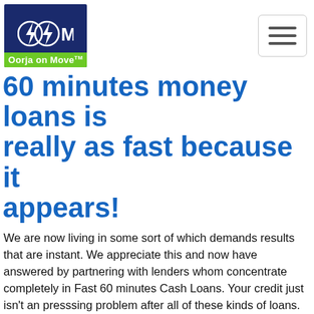Oorja on Move
60 minutes money loans is really as fast because it appears!
We are now living in some sort of which demands results that are instant. We appreciate this and now have answered by partnering with lenders whom concentrate completely in Fast 60 minutes Cash Loans. Your credit just isn't an presssing problem after all of these kinds of loans. Unequivocally no old-fashioned credit checks! Select the featured fast money To Go one hour Cash Lender and also make it take place on your own.
Fully guaranteed Fast Loan Processing for Fast Money To